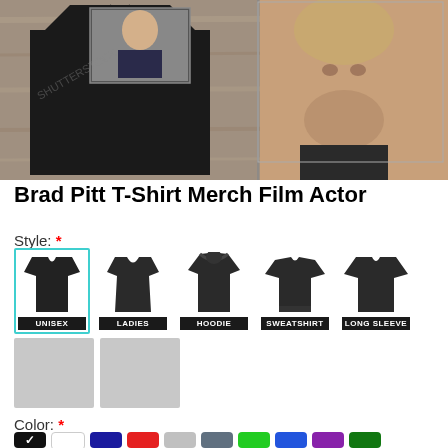[Figure (photo): Product image of a black T-shirt with Brad Pitt photo print, hanging against a wood background. A close-up photo of a man's face is visible on the right side.]
Brad Pitt T-Shirt Merch Film Actor
Style: *
[Figure (infographic): Five style option buttons: UNISEX (selected with teal border), LADIES, HOODIE, SWEATSHIRT, LONG SLEEVE, each showing a dark garment icon with label underneath.]
[Figure (photo): Two gray product thumbnail images side by side.]
Color: *
[Figure (infographic): Color swatches row: black (selected with checkmark), white, navy, red, silver, steel blue, green, blue, purple, dark green.]